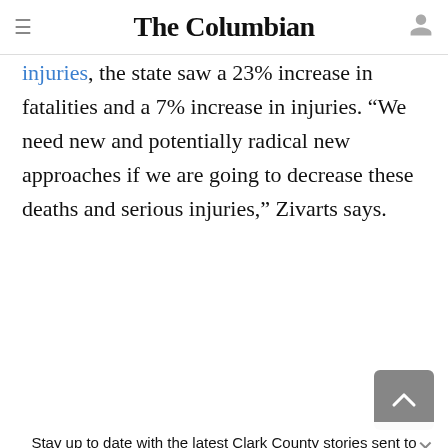The Columbian
injuries, the state saw a 23% increase in fatalities and a 7% increase in injuries. “We need new and potentially radical new approaches if we are going to decrease these deaths and serious injuries,” Zivarts says.
Stay up to date with the latest Clark County stories sent to your inbox every week. Sign up for Columbian newsletters today.